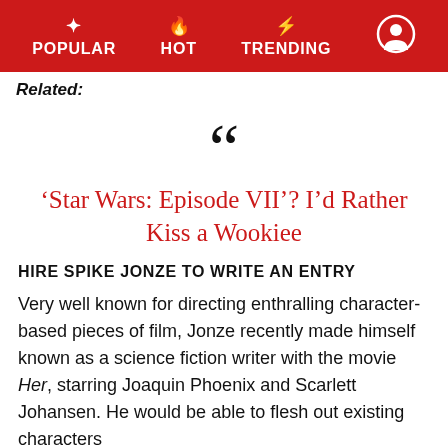POPULAR  HOT  TRENDING
Related:
[Figure (illustration): Large decorative opening quotation marks in black]
'Star Wars: Episode VII'? I'd Rather Kiss a Wookiee
HIRE SPIKE JONZE TO WRITE AN ENTRY
Very well known for directing enthralling character-based pieces of film, Jonze recently made himself known as a science fiction writer with the movie Her, starring Joaquin Phoenix and Scarlett Johansen. He would be able to flesh out existing characters